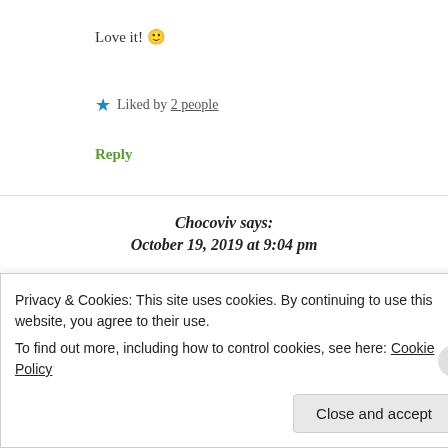Love it! 🙂
★ Liked by 2 people
Reply
Chocoviv says:
October 19, 2019 at 9:04 pm
Thank you 😊
Privacy & Cookies: This site uses cookies. By continuing to use this website, you agree to their use.
To find out more, including how to control cookies, see here: Cookie Policy